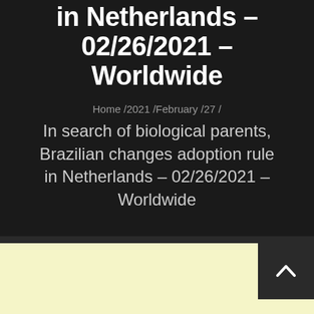in Netherlands – 02/26/2021 – Worldwide
Home /2021 /February /27 /
In search of biological parents, Brazilian changes adoption rule in Netherlands – 02/26/2021 – Worldwide